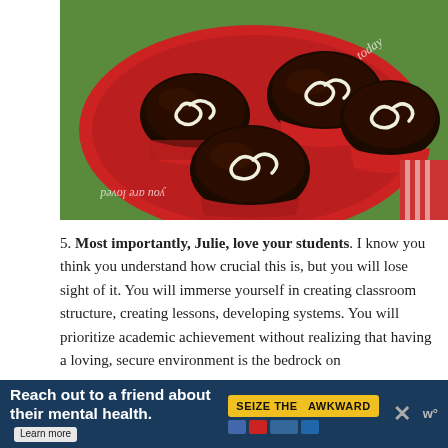[Figure (photo): Chocolate cupcakes with white cream decorative swirls on top, arranged on a red plate with white cursive text reading 'you are loved today']
5. Most importantly, Julie, love your students. I know you think you understand how crucial this is, but you will lose sight of it. You will immerse yourself in creating classroom structure, creating lessons, developing systems. You will prioritize academic achievement without realizing that having a loving, secure environment is the bedrock on
[Figure (infographic): Advertisement banner: 'Reach out to a friend about their mental health. Learn more' with 'SEIZE THE AWKWARD' yellow badge and ad council icons, with close button and W logo]